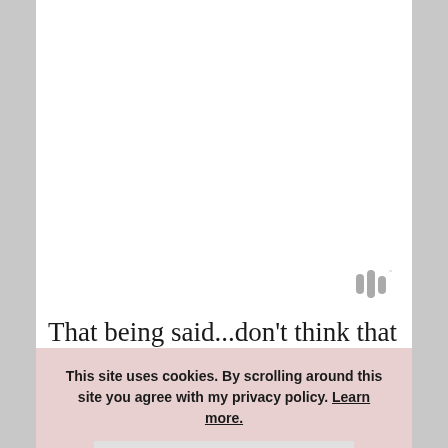[Figure (logo): Small logo mark with three vertical wave/bar shapes in gray, with a small degree symbol, resembling a sound or signal icon]
That being said...don't think that we skip screens entirely. There may be a day when I need something done and we pull out a movie. Or
This site uses cookies. By scrolling around this site you agree with my privacy policy. Learn more. GOT IT!